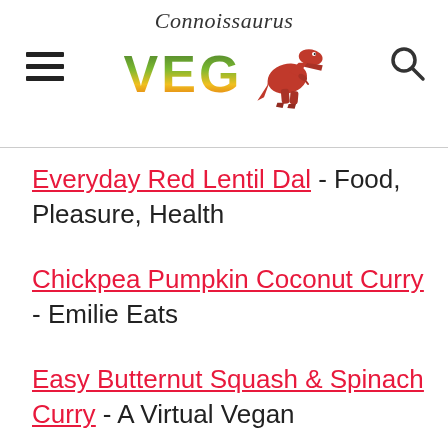Connoissaurus VEG [logo with dinosaur]
Everyday Red Lentil Dal - Food, Pleasure, Health
Chickpea Pumpkin Coconut Curry - Emilie Eats
Easy Butternut Squash & Spinach Curry - A Virtual Vegan